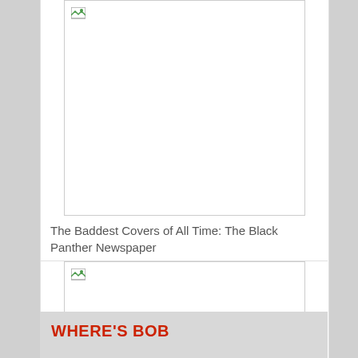[Figure (photo): White image placeholder box with broken image icon, top card]
The Baddest Covers of All Time: The Black Panther Newspaper
[Figure (photo): White image placeholder box with broken image icon, middle card]
Altweekly Shock Tactics
WHERE'S BOB